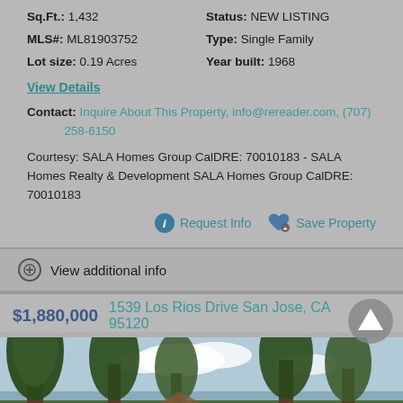Sq.Ft.: 1,432 | Status: NEW LISTING
MLS#: ML81903752 | Type: Single Family
Lot size: 0.19 Acres | Year built: 1968
View Details
Contact: Inquire About This Property, info@rereader.com, (707) 258-6150
Courtesy: SALA Homes Group CalDRE: 70010183 - SALA Homes Realty & Development SALA Homes Group CalDRE: 70010183
Request Info  Save Property
View additional info
$1,880,000  1539 Los Rios Drive San Jose, CA 95120
[Figure (photo): Exterior photo of property at 1539 Los Rios Drive, showing trees and sky]